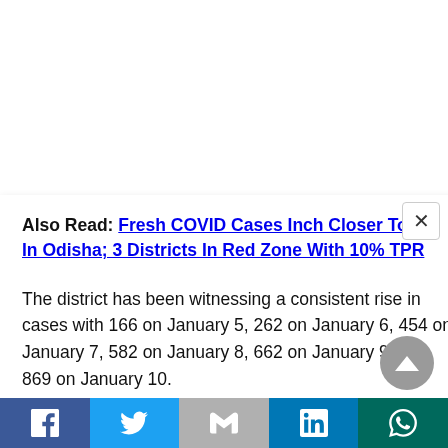Also Read: Fresh COVID Cases Inch Closer To 5K In Odisha; 3 Districts In Red Zone With 10% TPR
The district has been witnessing a consistent rise in cases with 166 on January 5, 262 on January 6, 454 on January 7, 582 on January 8, 662 on January 9 and 869 on January 10.
Sundargarh now has 3060 active cases while the